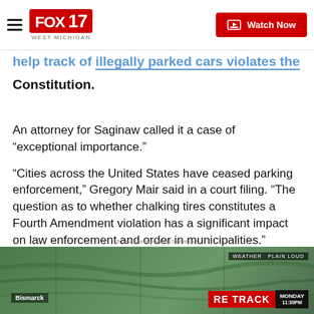FOX 17 WEST MICHIGAN | Watch Now
help track of illegally parked cars violates the Constitution.
An attorney for Saginaw called it a case of “exceptional importance.”
“Cities across the United States have ceased parking enforcement,” Gregory Mair said in a court filing. “The question as to whether chalking tires constitutes a Fourth Amendment violation has a significant impact on law enforcement and order in municipalities.”
Browse Stories from fox17online.com
[Figure (screenshot): Weather map screenshot showing Bismarck area with RE TRACK label and MONDAY text, weather/plain loud overlay bar]